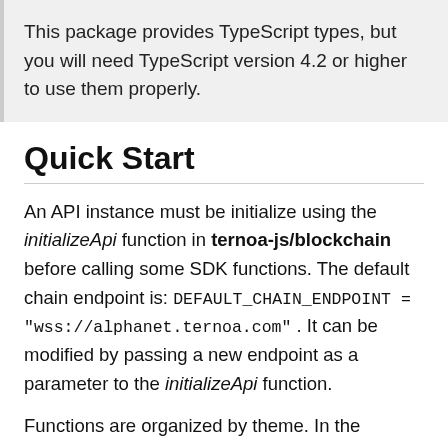This package provides TypeScript types, but you will need TypeScript version 4.2 or higher to use them properly.
Quick Start
An API instance must be initialize using the initializeApi function in ternoa-js/blockchain before calling some SDK functions. The default chain endpoint is: DEFAULT_CHAIN_ENDPOINT = "wss://alphanet.ternoa.com" . It can be modified by passing a new endpoint as a parameter to the initializeApi function.
Functions are organized by theme. In the example below, the import of generateSeed and